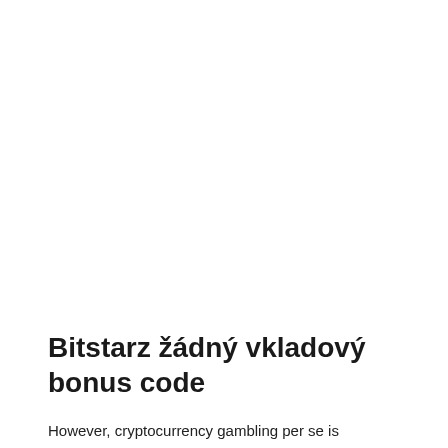Bitstarz žádný vkladový bonus code
However, cryptocurrency gambling per se is